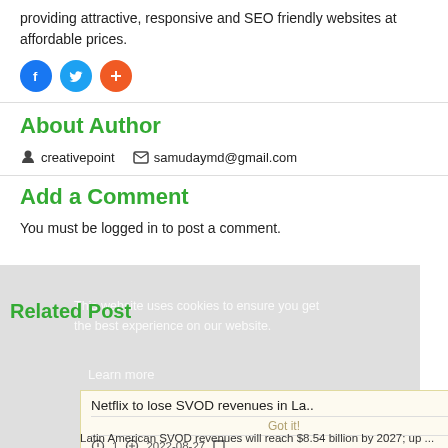providing attractive, responsive and SEO friendly websites at affordable prices.
[Figure (illustration): Three social media icon circles: Facebook (blue), Twitter (blue), and a plus/share button (orange)]
About Author
creativepoint   samudaymd@gmail.com
Add a Comment
You must be logged in to post a comment.
This website uses cookies to ensure you get the best experience on our website.
Related Post
Learn more
Netflix to lose SVOD revenues in La..
Got it!
1   2022-08-27
Latin American SVOD revenues will reach $8.54 billion by 2027; up ...